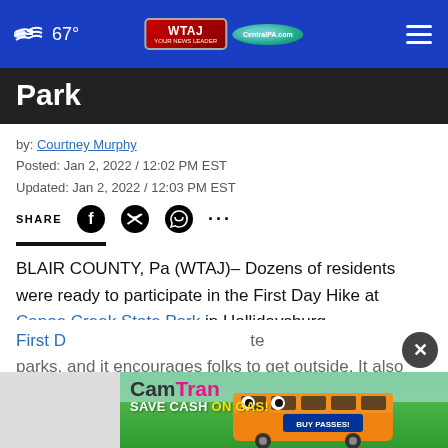67° WTAJ CentralPA.com
Park
by: Courtney Murphy
Posted: Jan 2, 2022 / 12:02 PM EST
Updated: Jan 2, 2022 / 12:03 PM EST
SHARE
BLAIR COUNTY, Pa (WTAJ)– Dozens of residents were ready to participate in the First Day Hike at Canoe Creek State Park in Hollidaysburg.
First D... parks, and it encourages folks to get outside. It also
[Figure (infographic): CamTran advertisement banner: SAVE CASH ON GAS! BUY PASSES! with orange bus graphic]